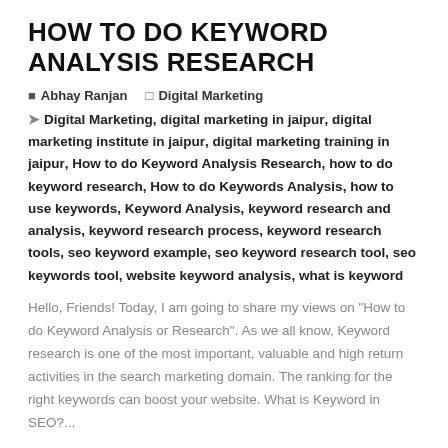HOW TO DO KEYWORD ANALYSIS RESEARCH
Abhay Ranjan   Digital Marketing
Digital Marketing, digital marketing in jaipur, digital marketing institute in jaipur, digital marketing training in jaipur, How to do Keyword Analysis Research, how to do keyword research, How to do Keywords Analysis, how to use keywords, Keyword Analysis, keyword research and analysis, keyword research process, keyword research tools, seo keyword example, seo keyword research tool, seo keywords tool, website keyword analysis, what is keyword
Hello, Friends! Today, I am going to share my views on "How to do Keyword Analysis or Research". As we all know, Keyword research is one of the most important, valuable and high return activities in the search marketing domain. The ranking for the right keywords can boost your website. What is Keyword in SEO?...
Read More